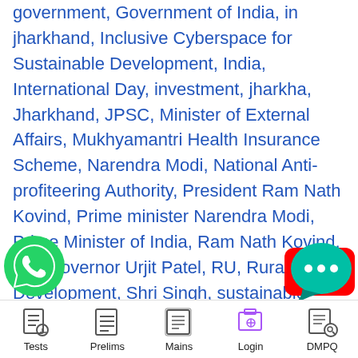government, Government of India, in jharkhand, Inclusive Cyberspace for Sustainable Development, India, International Day, investment, jharkha, Jharkhand, JPSC, Minister of External Affairs, Mukhyamantri Health Insurance Scheme, Narendra Modi, National Anti-profiteering Authority, President Ram Nath Kovind, Prime minister Narendra Modi, Prime Minister of India, Ram Nath Kovind, RBI Governor Urjit Patel, RU, Rural Development, Shri Singh, sustainable development, Technical mbers, the Government, the Government of India, UNESCO, Union Cabinet,
[Figure (logo): WhatsApp green phone icon]
[Figure (logo): YouTube red play button icon]
[Figure (logo): Teal chat bubble with three dots icon]
Tests  Prelims  Mains  Login  DMPQ